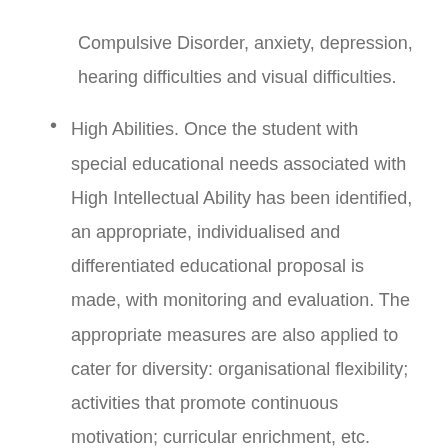Compulsive Disorder, anxiety, depression, hearing difficulties and visual difficulties.
High Abilities. Once the student with special educational needs associated with High Intellectual Ability has been identified, an appropriate, individualised and differentiated educational proposal is made, with monitoring and evaluation. The appropriate measures are also applied to cater for diversity: organisational flexibility; activities that promote continuous motivation; curricular enrichment, etc.